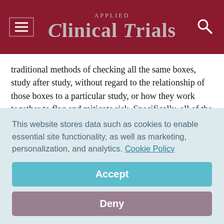Applied Clinical Trials
traditional methods of checking all the same boxes, study after study, without regard to the relationship of those boxes to a particular study, or how they work together to flag and mitigate risk. Specifically, all of the drivers of performance need to be identified and weighed for their contribution to performance.⁹
Much like the two families hoping to have a safe trip while
This website stores data such as cookies to enable essential site functionality, as well as marketing, personalization, and analytics. Cookie Policy
Accept
Deny